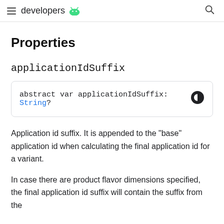developers [android logo]
Properties
applicationIdSuffix
abstract var applicationIdSuffix: String?
Application id suffix. It is appended to the "base" application id when calculating the final application id for a variant.
In case there are product flavor dimensions specified, the final application id suffix will contain the suffix from the